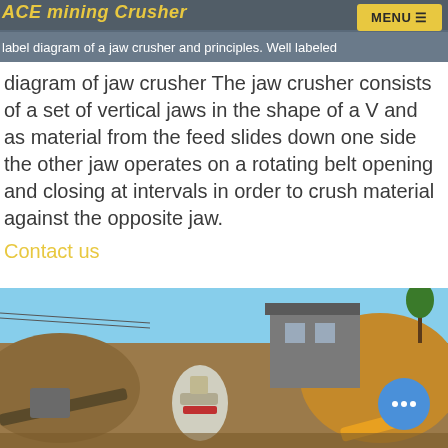ACE mining Crusher | label diagram of a jaw crusher and principles | MENU
label diagram of a jaw crusher and principles. Well labeled diagram of jaw crusher The jaw crusher consists of a set of vertical jaws in the shape of a V and as material from the feed slides down one side the other jaw operates on a rotating belt opening and closing at intervals in order to crush material against the opposite jaw.
Contact us
[Figure (photo): Outdoor photograph of a jaw crusher and mining equipment set up at a site with rocky terrain, earthen mounds, and industrial machinery including a cone crusher.]